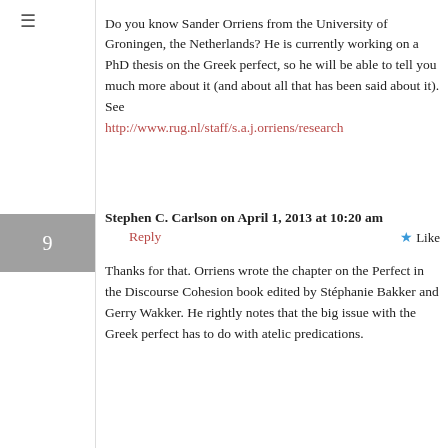Do you know Sander Orriens from the University of Groningen, the Netherlands? He is currently working on a PhD thesis on the Greek perfect, so he will be able to tell you much more about it (and about all that has been said about it). See http://www.rug.nl/staff/s.a.j.orriens/research
Stephen C. Carlson on April 1, 2013 at 10:20 am   Reply   Like
Thanks for that. Orriens wrote the chapter on the Perfect in the Discourse Cohesion book edited by Stéphanie Bakker and Gerry Wakker. He rightly notes that the big issue with the Greek perfect has to do with atelic predications.